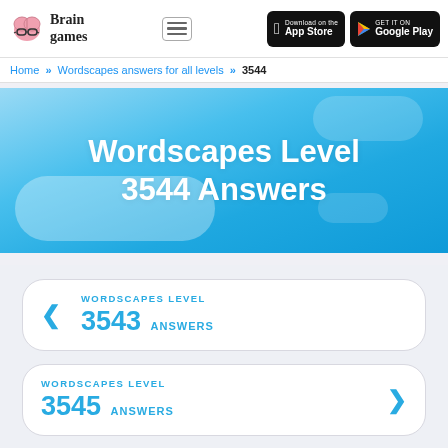Brain Games — App Store — Google Play
Home » Wordscapes answers for all levels » 3544
Wordscapes Level 3544 Answers
WORDSCAPES LEVEL 3543 ANSWERS
WORDSCAPES LEVEL 3545 ANSWERS